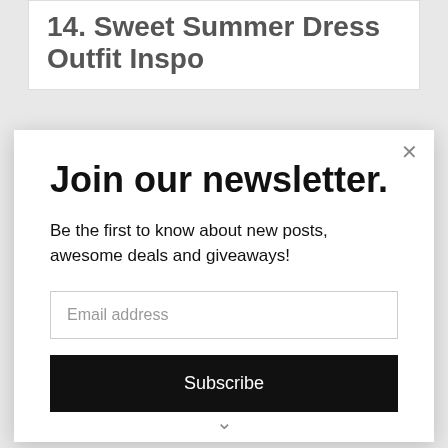14.  Sweet Summer Dress Outfit Inspo
Join our newsletter.
Be the first to know about new posts, awesome deals and giveaways!
Email address
Subscribe